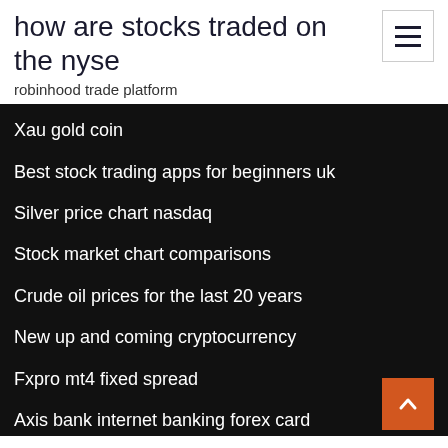how are stocks traded on the nyse
robinhood trade platform
Xau gold coin
Best stock trading apps for beginners uk
Silver price chart nasdaq
Stock market chart comparisons
Crude oil prices for the last 20 years
New up and coming cryptocurrency
Fxpro mt4 fixed spread
Axis bank internet banking forex card
Trader bitcoin france
Increase lot size forex